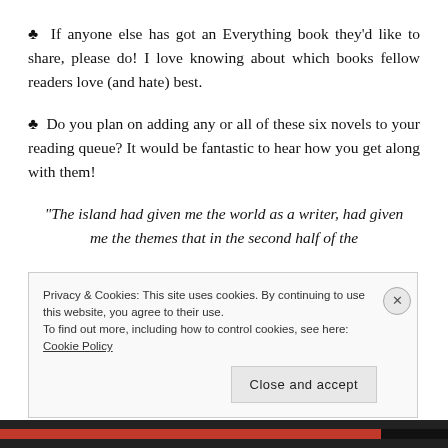♣ If anyone else has got an Everything book they'd like to share, please do! I love knowing about which books fellow readers love (and hate) best.
♣ Do you plan on adding any or all of these six novels to your reading queue? It would be fantastic to hear how you get along with them!
“The island had given me the world as a writer, had given me the themes that in the second half of the
Privacy & Cookies: This site uses cookies. By continuing to use this website, you agree to their use.
To find out more, including how to control cookies, see here: Cookie Policy
Close and accept